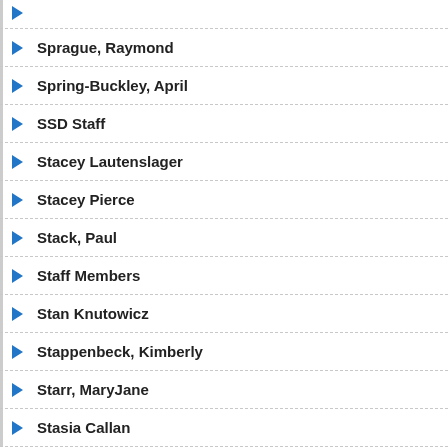Sprague, Raymond
Spring-Buckley, April
SSD Staff
Stacey Lautenslager
Stacey Pierce
Stack, Paul
Staff Members
Stan Knutowicz
Stappenbeck, Kimberly
Starr, MaryJane
Stasia Callan